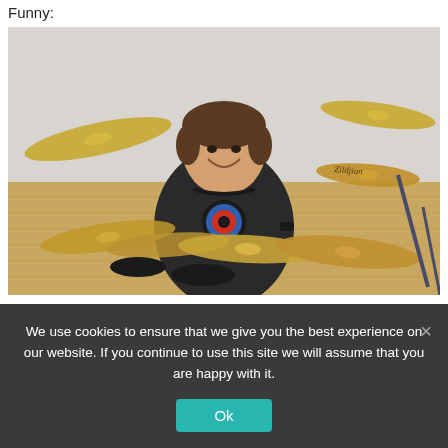Funny:
[Figure (photo): A smiling man wearing a black t-shirt with a circular target logo, seated behind a large professional drum kit with Zildjian cymbals in a room with light wood flooring and a pale wall.]
Above: The calm before the storm. Taken right after our first set. I was barely sweating because I was mostly napping.
We use cookies to ensure that we give you the best experience on our website. If you continue to use this site we will assume that you are happy with it.